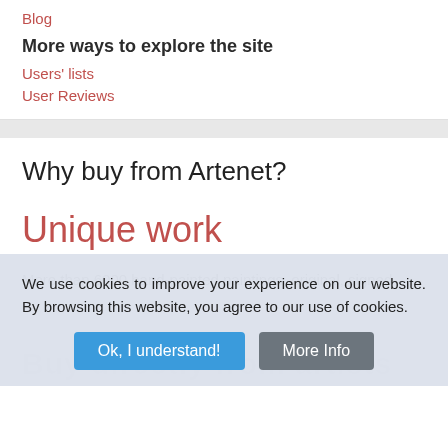Blog
More ways to explore the site
Users' lists
User Reviews
Why buy from Artenet?
Unique work
More than 6000 hand-painted paintings, original, signed
We use cookies to improve your experience on our website. By browsing this website, you agree to our use of cookies.
Ok, I understand!
More Info